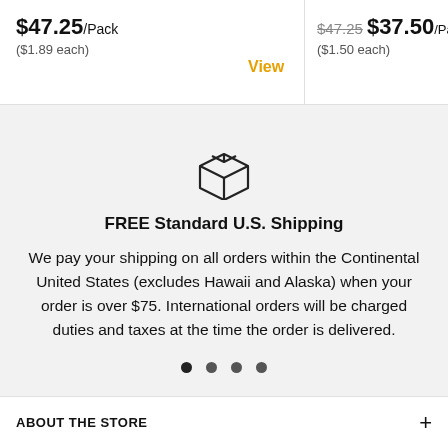$47.25/Pack ($1.89 each)
View
$47.25 $37.50/Pack ($1.50 each)
[Figure (illustration): Box/package icon, outline style]
FREE Standard U.S. Shipping
We pay your shipping on all orders within the Continental United States (excludes Hawaii and Alaska) when your order is over $75. International orders will be charged duties and taxes at the time the order is delivered.
ABOUT THE STORE